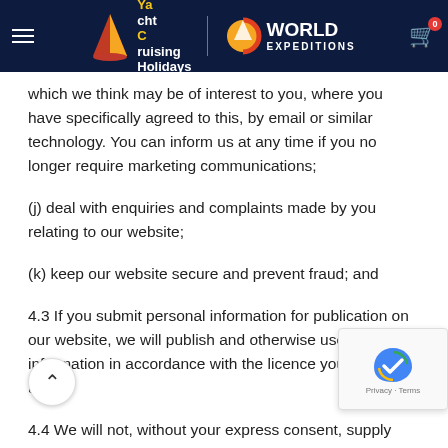Yacht Cruising Holidays | World Expeditions
which we think may be of interest to you, where you have specifically agreed to this, by email or similar technology. You can inform us at any time if you no longer require marketing communications;
(j) deal with enquiries and complaints made by you relating to our website;
(k) keep our website secure and prevent fraud; and
4.3 If you submit personal information for publication on our website, we will publish and otherwise use that information in accordance with the licence you grant to us.
4.4 We will not, without your express consent, supply your personal information to any third party for the purpose of any other third party's direct marketing.
5. Disclosing personal information